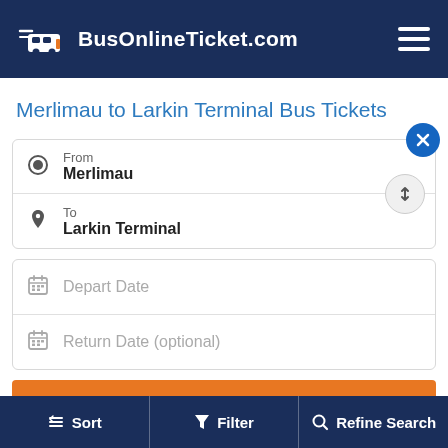BusOnlineTicket.com
Merlimau to Larkin Terminal Bus Tickets
From
Merlimau
To
Larkin Terminal
Depart Date
Return Date (optional)
Sort   Filter   Refine Search